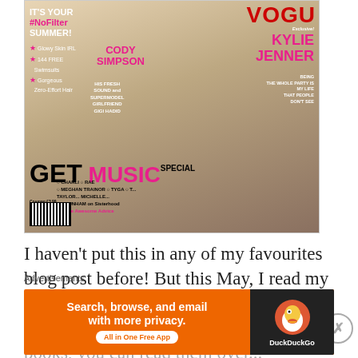[Figure (photo): Teen Vogue magazine cover featuring Kylie Jenner and Cody Simpson. Cover shows text: IT'S YOUR #NoFilter SUMMER!, Glowy Skin IRL, 144 FREE Swimsuits, Gorgeous Zero-Effort Hair, CODY SIMPSON HIS FRESH SOUND and SUPERMODEL GIRLFRIEND GIGI HADID, Exclusive! BEING KYLIE JENNER THE WHOLE PARTY IS MY LIFE THAT PEOPLE DON'T SEE, GET MUSIC SPECIAL, CHARLI, RAE, MEGHAN TRAINOR, TYGA, TAYLOR, MICHELLE, NA DUNHAM on Sisterhood, More Awesome Advice, Cosmag £3.99]
I haven't put this in any of my favourites blog post before! But this May, I read my first Teen Vogue and Seventeen magazine. Magazine's are different to books, you can read them over...
Advertisements
[Figure (screenshot): DuckDuckGo advertisement banner with orange background. Text reads: Search, browse, and email with more privacy. All in One Free App. DuckDuckGo logo on dark background on right side.]